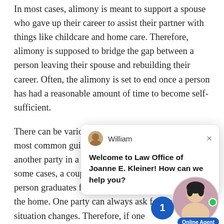In most cases, alimony is meant to support a spouse who gave up their career to assist their partner with things like childcare and home care. Therefore, alimony is supposed to bridge the gap between a person leaving their spouse and rebuilding their career. Often, the alimony is set to end once a person has had a reasonable amount of time to become self-sufficient.
There can be various ways of determining this. The most common guide... Pennsylvania l... usually should... another party in a marriage-like arrangement. In some cases, a couple may agree for alimony to e... person graduates from school, or any minor c... leave the home. One party can always ask for a... end after a situation changes. Therefore, if one...
[Figure (screenshot): Chat widget popup from William at Law Office of Joanne E. Kleiner with message 'Welcome to Law Office of Joanne E. Kleiner! How can we help you?' and an online agent avatar with notification badge showing 1.]